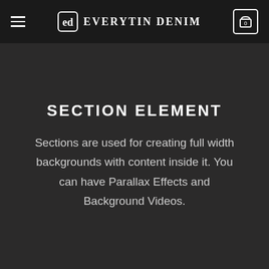Everytin Denim
SECTION ELEMENT
Sections are used for creating full width backgrounds with content inside it. You can have Parallax Effects and Background Videos.